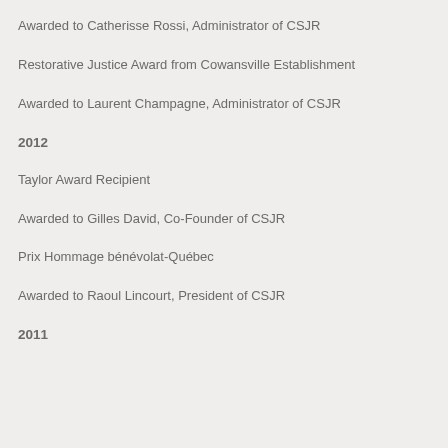Awarded to Catherisse Rossi, Administrator of CSJR
Restorative Justice Award from Cowansville Establishment
Awarded to Laurent Champagne, Administrator of CSJR
2012
Taylor Award Recipient
Awarded to Gilles David, Co-Founder of CSJR
Prix Hommage bénévolat-Québec
Awarded to Raoul Lincourt, President of CSJR
2011